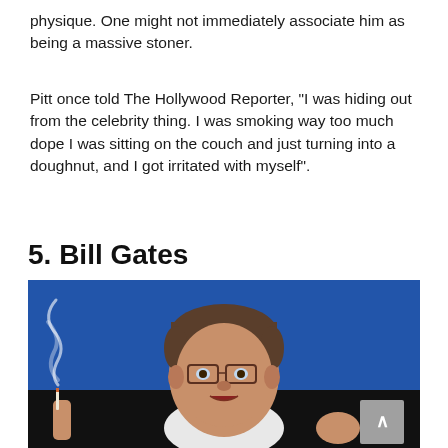physique. One might not immediately associate him as being a massive stoner.
Pitt once told The Hollywood Reporter, "I was hiding out from the celebrity thing. I was smoking way too much dope I was sitting on the couch and just turning into a doughnut, and I got irritated with myself".
5. Bill Gates
[Figure (photo): Photo of Bill Gates holding a cigarette with smoke rising, against a blue background, with a scroll-to-top button overlay in the bottom right corner.]